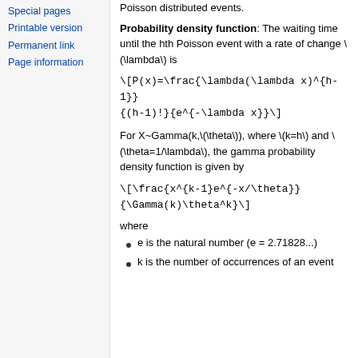Special pages
Printable version
Permanent link
Page information
Poisson distributed events.
Probability density function: The waiting time until the hth Poisson event with a rate of change \(\lambda\) is
For X~Gamma(k,\(\theta\)), where \(k=h\) and \(\theta=1/\lambda\), the gamma probability density function is given by
where
e is the natural number (e = 2.71828...)
k is the number of occurrences of an event